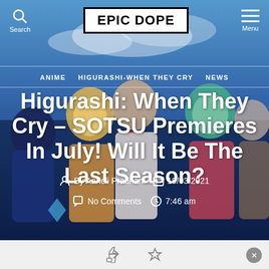EPIC DOPE
[Figure (illustration): Anime characters from Higurashi: When They Cry grouped together against a blue sky background]
ANIME  HIGURASHI-WHEN THEY CRY  NEWS
Higurashi: When They Cry – SOTSU Premieres In July! Will It Be The Last Season?
By Aaheli Pradhan  19/03/2021
No Comments  7:46 am